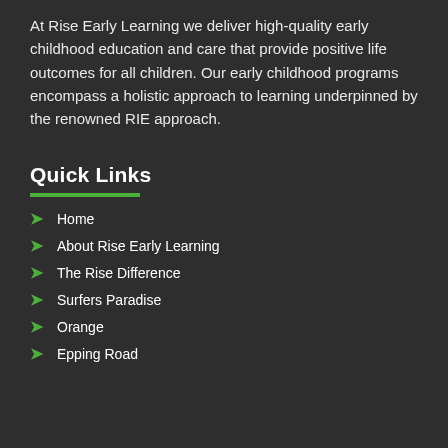At Rise Early Learning we deliver high-quality early childhood education and care that provide positive life outcomes for all children. Our early childhood programs encompass a holistic approach to learning underpinned by the renowned RIE approach.
Quick Links
Home
About Rise Early Learning
The Rise Difference
Surfers Paradise
Orange
Epping Road